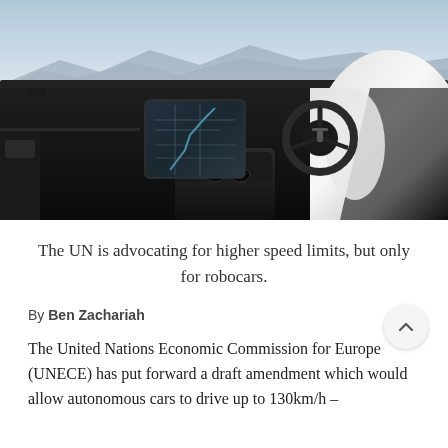[Figure (photo): Interior view of a Tesla electric vehicle showing the dashboard, large central touchscreen displaying a map, steering wheel, center console, and white leather passenger seat, with a scenic landscape visible through the windshield.]
The UN is advocating for higher speed limits, but only for robocars.
By Ben Zachariah
The United Nations Economic Commission for Europe (UNECE) has put forward a draft amendment which would allow autonomous cars to drive up to 130km/h –